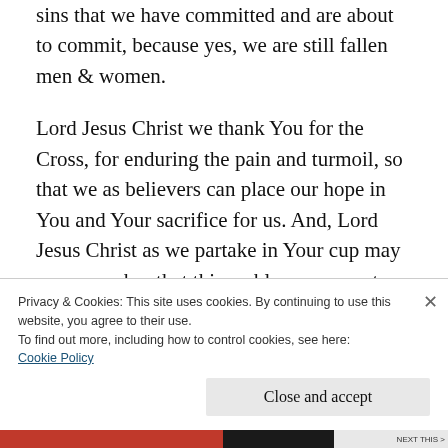sins that we have committed and are about to commit, because yes, we are still fallen men & women.
Lord Jesus Christ we thank You for the Cross, for enduring the pain and turmoil, so that we as believers can place our hope in You and Your sacrifice for us. And, Lord Jesus Christ as we partake in Your cup may we remember that this emblem represents not just Your death and burial but, also Your resurrection to glory
Privacy & Cookies: This site uses cookies. By continuing to use this website, you agree to their use.
To find out more, including how to control cookies, see here:
Cookie Policy
Close and accept